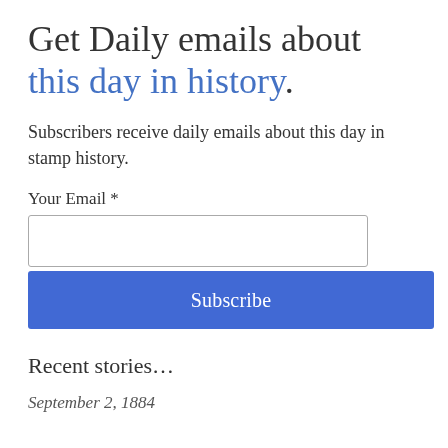Get Daily emails about this day in history.
Subscribers receive daily emails about this day in stamp history.
Your Email *
Subscribe
Recent stories…
September 2, 1884